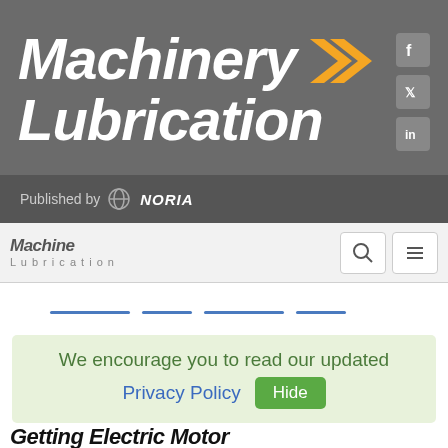[Figure (logo): Machinery Lubrication logo with orange double-chevron arrows, white italic bold text on gray background, with Facebook, Twitter, LinkedIn social icons on right]
Published by NORIA
[Figure (logo): Machine Lubrication small navigation logo with search and hamburger menu buttons]
We encourage you to read our updated Privacy Policy  Hide
Getting Electric Motor...